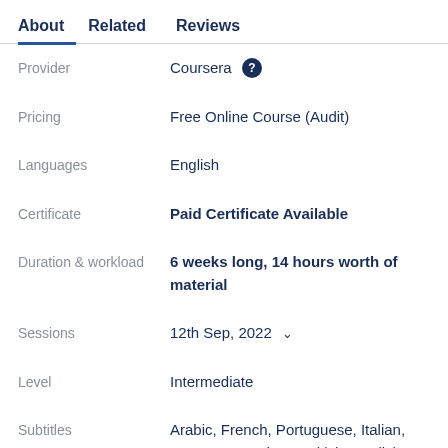About | Related | Reviews
|  |  |
| --- | --- |
| Provider | Coursera ? |
| Pricing | Free Online Course (Audit) |
| Languages | English |
| Certificate | Paid Certificate Available |
| Duration & workload | 6 weeks long, 14 hours worth of material |
| Sessions | 12th Sep, 2022 |
| Level | Intermediate |
| Subtitles | Arabic, French, Portuguese, Italian, German, Russian, Turkish, English, Spanish |